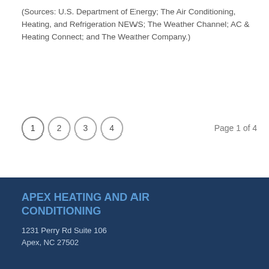(Sources: U.S. Department of Energy; The Air Conditioning, Heating, and Refrigeration NEWS; The Weather Channel; AC & Heating Connect; and The Weather Company.)
Page 1 of 4
APEX HEATING AND AIR CONDITIONING
1231 Perry Rd Suite 106
Apex, NC 27502